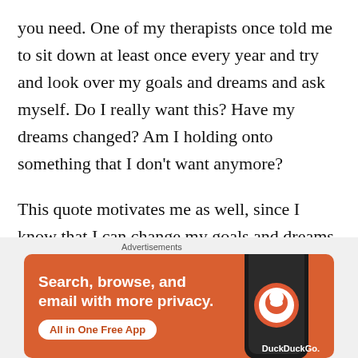you need. One of my therapists once told me to sit down at least once every year and try and look over my goals and dreams and ask myself. Do I really want this? Have my dreams changed? Am I holding onto something that I don't want anymore?
This quote motivates me as well, since I know that I can change my goals and dreams. I can do anything I want and it is never too late.
I wish you all a fantastic week!
[Figure (screenshot): DuckDuckGo advertisement banner with orange background showing 'Search, browse, and email with more privacy. All in One Free App' with a phone graphic and DuckDuckGo logo]